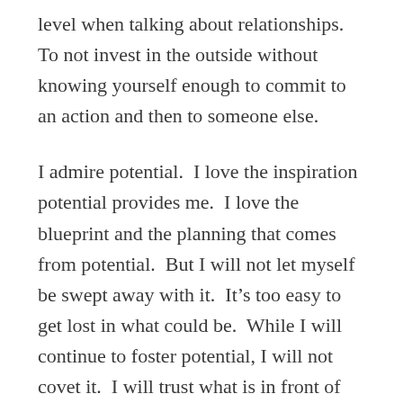level when talking about relationships. To not invest in the outside without knowing yourself enough to commit to an action and then to someone else.
I admire potential.  I love the inspiration potential provides me.  I love the blueprint and the planning that comes from potential.  But I will not let myself be swept away with it.  It’s too easy to get lost in what could be.  While I will continue to foster potential, I will not covet it.  I will trust what is in front of me and adapt as needed.  I will not waste this life waiting for potential to